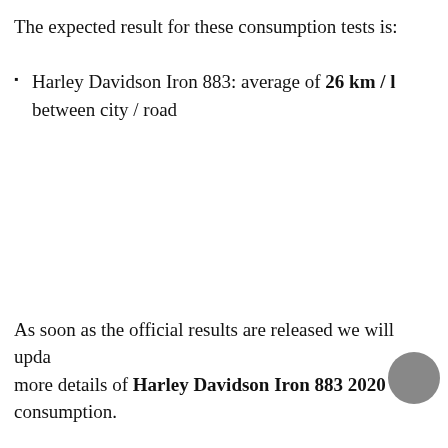The expected result for these consumption tests is:
Harley Davidson Iron 883: average of 26 km / l between city / road
As soon as the official results are released we will upda more details of Harley Davidson Iron 883 2020 consumption.